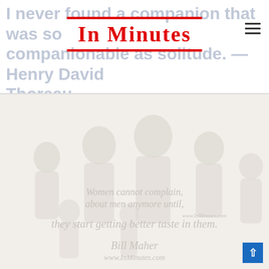I never found a companion that was so companionable as solitude. — Henry David Thoreau
In Minutes
[Figure (illustration): Faint watermark-style illustration of people silhouettes on a light beige background with quote overlay. Quote reads: Women cannot complain, about men anymore until, they start getting better taste in them. — Bill Maher. www.InMinutes.com watermarks visible.]